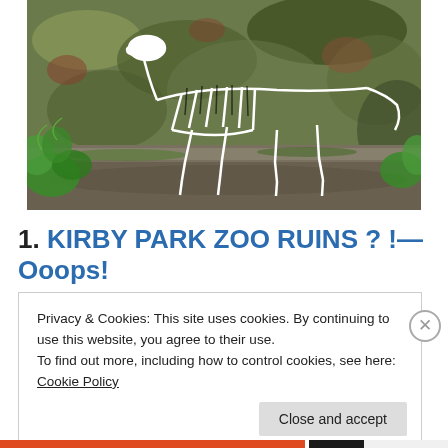[Figure (photo): A mural or street art painting of a zebra skeleton on a weathered, mossy wall. Green plants and leaves visible at the edges. The skeleton is painted in black and white on a textured stone or concrete surface with green-brown mottled coloring.]
1. KIRBY PARK ZOO RUINS ? !—Ooops!
Privacy & Cookies: This site uses cookies. By continuing to use this website, you agree to their use.
To find out more, including how to control cookies, see here: Cookie Policy